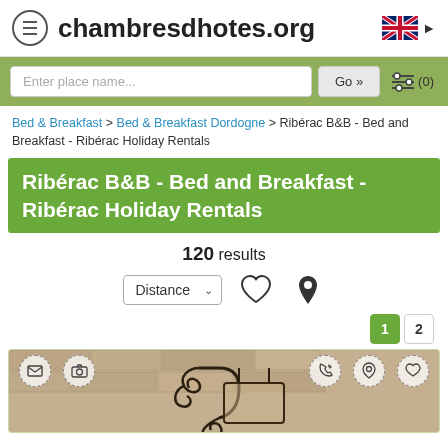chambresdhotes.org
Enter place name...  Go »  (0)
Bed & Breakfast > Bed & Breakfast Dordogne > Ribérac B&B - Bed and Breakfast - Ribérac Holiday Rentals
Ribérac B&B - Bed and Breakfast - Ribérac Holiday Rentals
120 results
Distance
1  2
[Figure (photo): Listing card showing a decorative wrought iron sign bracket mounted on a stone wall, with action icons (email, photo, phone, location, favorite) in dashed circles overlaid on top]